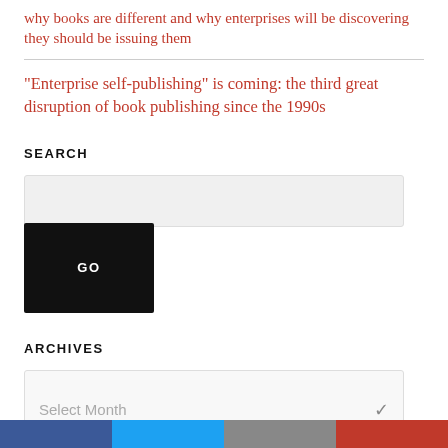why books are different and why enterprises will be discovering they should be issuing them
“Enterprise self-publishing” is coming: the third great disruption of book publishing since the 1990s
SEARCH
ARCHIVES